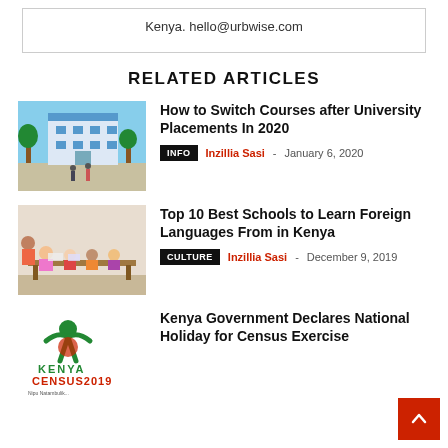Kenya. hello@urbwise.com
RELATED ARTICLES
[Figure (photo): University building exterior with people walking]
How to Switch Courses after University Placements In 2020
INFO  Inzillia Sasi - January 6, 2020
[Figure (photo): Children sitting at classroom tables studying with a teacher]
Top 10 Best Schools to Learn Foreign Languages From in Kenya
CULTURE  Inzillia Sasi - December 9, 2019
[Figure (logo): Kenya Census 2019 logo with Nipu Natambulia text]
Kenya Government Declares National Holiday for Census Exercise